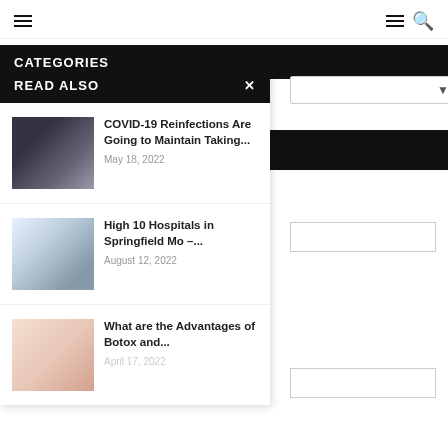CATEGORIES
READ ALSO
COVID-19 Reinfections Are Going to Maintain Taking... May 18, 2022
High 10 Hospitals in Springfield Mo –... August 12, 2022
What are the Advantages of Botox and...